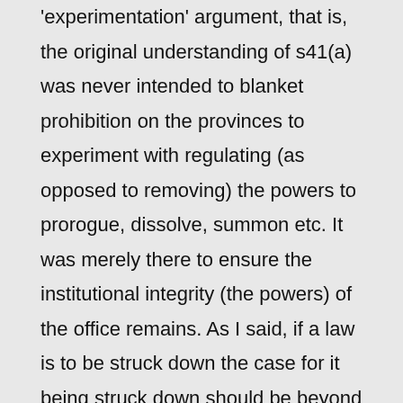'experimentation' argument, that is, the original understanding of s41(a) was never intended to blanket prohibition on the provinces to experiment with regulating (as opposed to removing) the powers to prorogue, dissolve, summon etc. It was merely there to ensure the institutional integrity (the powers) of the office remains. As I said, if a law is to be struck down the case for it being struck down should be beyond reasonable doubt. A linger doubt remains here.
To be sure, it will boil down to how broadly the courts have defined